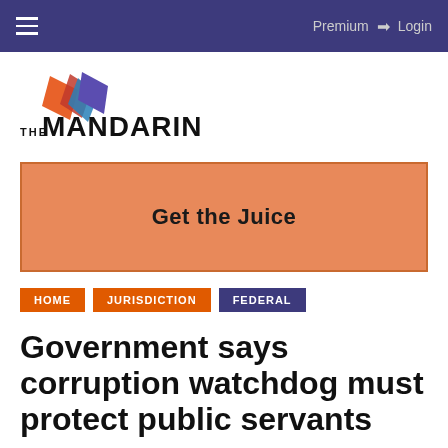≡   Premium  ➜ Login
[Figure (logo): The Mandarin logo with geometric diamond shapes in orange, red, and purple, followed by the text THE MANDARIN]
[Figure (infographic): Orange advertisement banner with text: Get the Juice]
HOME   JURISDICTION   FEDERAL
Government says corruption watchdog must protect public servants